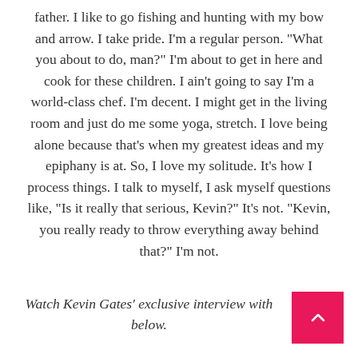father. I like to go fishing and hunting with my bow and arrow. I take pride. I'm a regular person. "What you about to do, man?" I'm about to get in here and cook for these children. I ain't going to say I'm a world-class chef. I'm decent. I might get in the living room and just do me some yoga, stretch. I love being alone because that's when my greatest ideas and my epiphany is at. So, I love my solitude. It's how I process things. I talk to myself, I ask myself questions like, "Is it really that serious, Kevin?" It's not. "Kevin, you really ready to throw everything away behind that?" I'm not.
Watch Kevin Gates' exclusive interview with below.